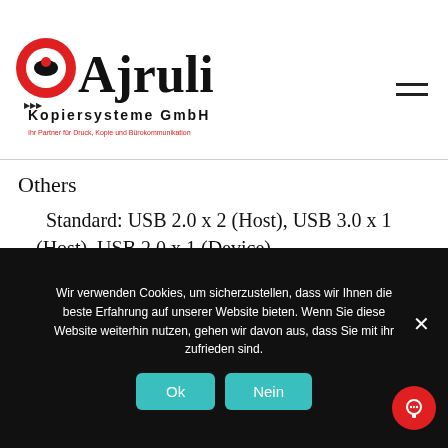Ajruli Kopiersysteme GmbH — Ihr Partner für Druck, Kopie und Bürokommunikation
Others
Standard: USB 2.0 x 2 (Host), USB 3.0 x 1 (Host), USB 2.0 x 1 (Device)
Optional: Copy Control Interface
Wir verwenden Cookies, um sicherzustellen, dass wir Ihnen die beste Erfahrung auf unserer Website bieten. Wenn Sie diese Website weiterhin nutzen, gehen wir davon aus, dass Sie mit ihr zufrieden sind.